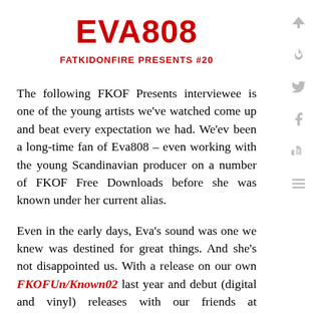EVA808
FATKIDONFIRE PRESENTS #20
The following FKOF Presents interviewee is one of the young artists we've watched come up and beat every expectation we had. We'ev been a long-time fan of Eva808 – even working with the young Scandinavian producer on a number of FKOF Free Downloads before she was known under her current alias.
Even in the early days, Eva's sound was one we knew was destined for great things. And she's not disappointed us. With a release on our own FKOFUn/Known02 last year and debut (digital and vinyl) releases with our friends at Encrypted Audio, the producer's earmarked